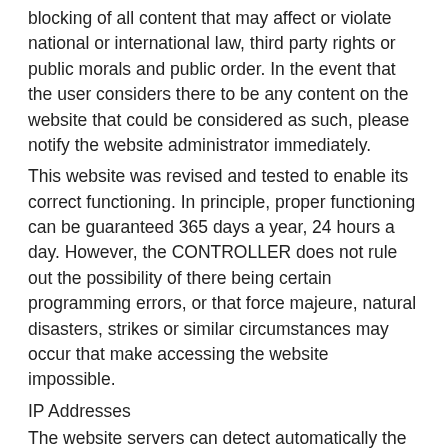blocking of all content that may affect or violate national or international law, third party rights or public morals and public order. In the event that the user considers there to be any content on the website that could be considered as such, please notify the website administrator immediately.
This website was revised and tested to enable its correct functioning. In principle, proper functioning can be guaranteed 365 days a year, 24 hours a day. However, the CONTROLLER does not rule out the possibility of there being certain programming errors, or that force majeure, natural disasters, strikes or similar circumstances may occur that make accessing the website impossible.
IP Addresses
The website servers can detect automatically the IP address and the domain name used by the user. An IP address is a number assigned automatically to a computer when connected to the Internet. All of this information is recorded in a duly registered system log on the server that allows the subsequent processing of